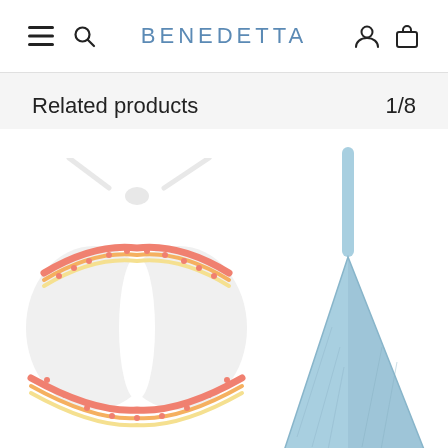BENEDETTA
Related products
1/8
[Figure (photo): White halter bikini top with colorful crochet trim in pink, orange, and yellow, tied at center]
[Figure (photo): Light blue denim triangle bikini top with crochet trim, partially visible on right side]